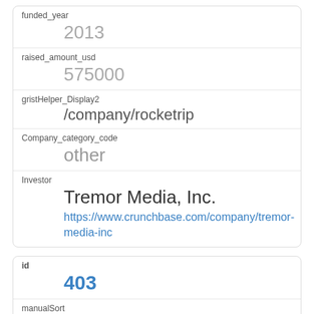| funded_year | 2013 |
| raised_amount_usd | 575000 |
| gristHelper_Display2 | /company/rocketrip |
| Company_category_code | other |
| Investor | Tremor Media, Inc.
https://www.crunchbase.com/company/tremor-media-inc |
| id | 403 |
| manualSort | 403 |
| Company | 263 |
| investor_permalink |  |